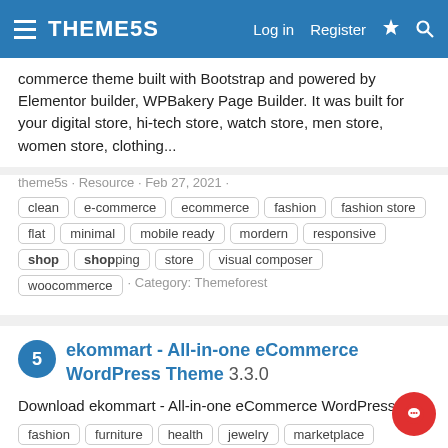THEME5S   Log in   Register
commerce theme built with Bootstrap and powered by Elementor builder, WPBakery Page Builder. It was built for your digital store, hi-tech store, watch store, men store, women store, clothing...
theme5s · Resource · Feb 27, 2021 ·  clean  e-commerce  ecommerce  fashion  fashion store  flat  minimal  mobile ready  mordern  responsive  shop  shopping  store  visual composer  woocommerce · Category: Themeforest
ekommart - All-in-one eCommerce WordPress Theme 3.3.0
Download ekommart - All-in-one eCommerce WordPress Theme latest version Ekommart is All in one eCommerce WordPress Theme. If you already have planned the niche you're going to pick for your single product business, you can choose the most suitable theme from these single product WordPress...
theme5s · Resource · Feb 27, 2021 ·  electronics  eleme...  fashion  furniture  health  jewelry  marketplace